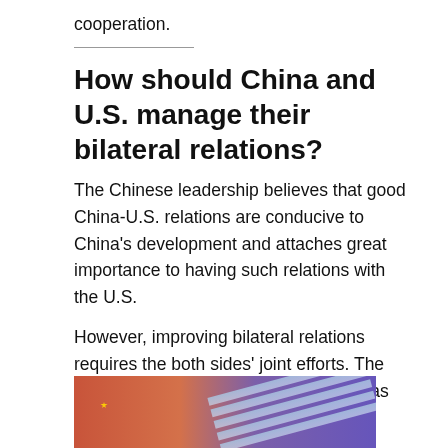cooperation.
How should China and U.S. manage their bilateral relations?
The Chinese leadership believes that good China-U.S. relations are conducive to China's development and attaches great importance to having such relations with the U.S.
However, improving bilateral relations requires the both sides' joint efforts. The U.S. should see China's development as an opportunity. China needs to deepen reform and further open up its market.
[Figure (photo): Photo showing Chinese and American flags blended together with red, orange, purple background tones]